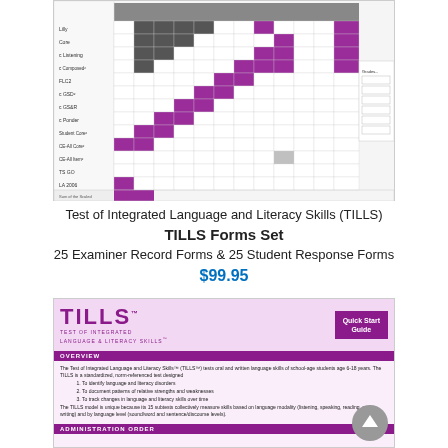[Figure (table-as-image): TILLS Examiner Record Form preview showing a grid/table with purple and grey filled cells representing assessment data across subtests and age levels]
Test of Integrated Language and Literacy Skills (TILLS)
TILLS Forms Set
25 Examiner Record Forms & 25 Student Response Forms
$99.95
[Figure (illustration): TILLS Quick Start Guide preview showing the TILLS logo (purple text), 'Quick Start Guide' badge (purple box), OVERVIEW section header, and overview body text about the Test of Integrated Language and Literacy Skills assessing oral and written language skills of school-age students age 6-18 years. Lists three purposes: identify language and literacy disorders, document patterns of relative strengths and weaknesses, track changes in language and literacy skills over time. Mentions TILLS model measures skills by language modality and language level. Bottom section header partially visible.]